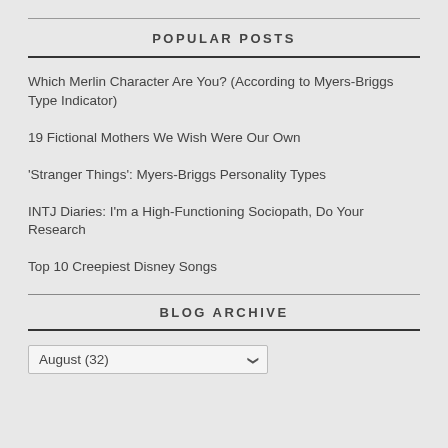POPULAR POSTS
Which Merlin Character Are You? (According to Myers-Briggs Type Indicator)
19 Fictional Mothers We Wish Were Our Own
'Stranger Things': Myers-Briggs Personality Types
INTJ Diaries: I'm a High-Functioning Sociopath, Do Your Research
Top 10 Creepiest Disney Songs
BLOG ARCHIVE
August (32)